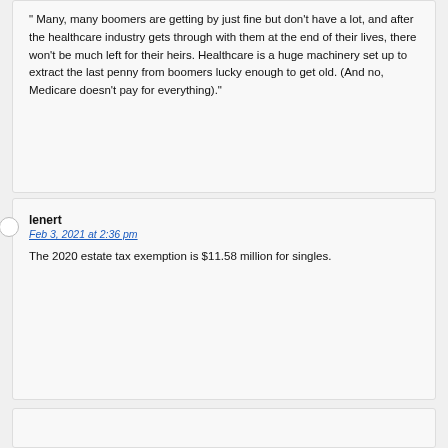"Many, many boomers are getting by just fine but don't have a lot, and after the healthcare industry gets through with them at the end of their lives, there won't be much left for their heirs. Healthcare is a huge machinery set up to extract the last penny from boomers lucky enough to get old. (And no, Medicare doesn't pay for everything)."
lenert
Feb 3, 2021 at 2:36 pm

The 2020 estate tax exemption is $11.58 million for singles.